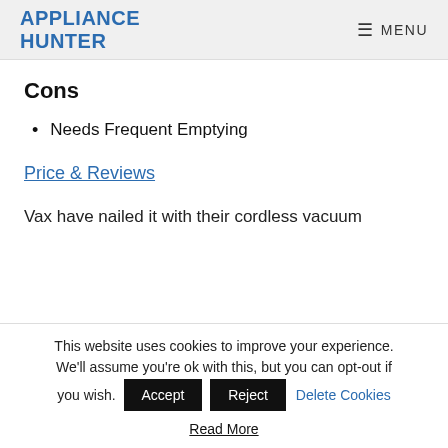APPLIANCE HUNTER  MENU
Cons
Needs Frequent Emptying
Price & Reviews
Vax have nailed it with their cordless vacuum
This website uses cookies to improve your experience. We'll assume you're ok with this, but you can opt-out if you wish.  Accept  Reject  Delete Cookies  Read More